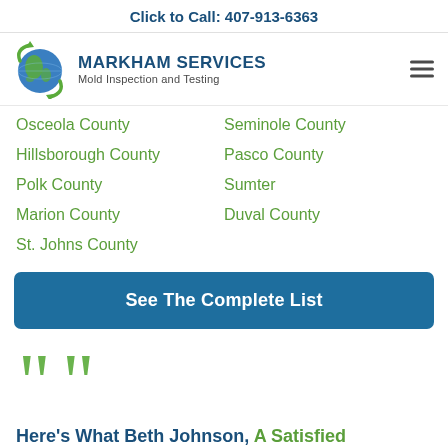Click to Call: 407-913-6363
[Figure (logo): Markham Services globe logo with green arrows]
MARKHAM SERVICES Mold Inspection and Testing
Osceola County
Seminole County
Hillsborough County
Pasco County
Polk County
Sumter
Marion County
Duval County
St. Johns County
See The Complete List
Here's What Beth Johnson, A Satisfied